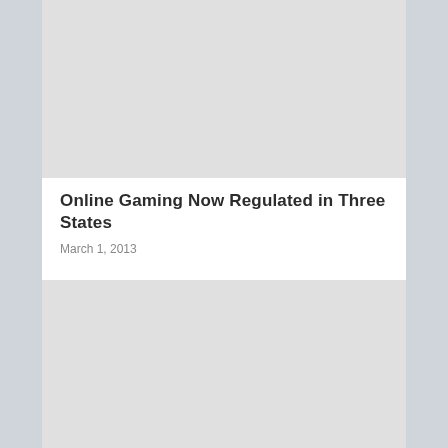[Figure (photo): Gray placeholder image at the top of the article card]
Online Gaming Now Regulated in Three States
March 1, 2013
[Figure (photo): Gray placeholder image at the bottom of the article card]